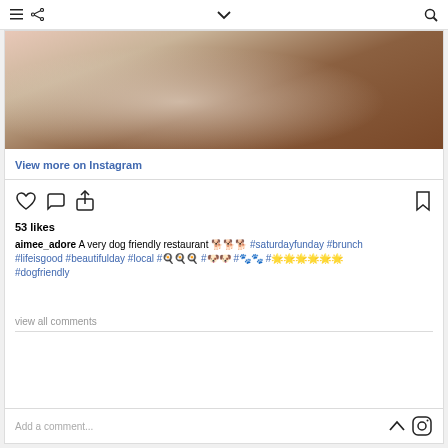≡ < ∨ 🔍
[Figure (photo): Close-up photo of a textured cream/beige napkin or cloth on a wooden table surface]
View more on Instagram
[Figure (infographic): Instagram action icons: heart (like), speech bubble (comment), share arrow, bookmark]
53 likes
aimee_adore A very dog friendly restaurant 🐕🐕🐕 #saturdayfunday #brunch #lifeisgood #beautifulday #local #🍳🍳🍳 #🐶🐶 #🐾🐾 #🌟🌟🌟🌟🌟🌟 #dogfriendly
view all comments
Add a comment...